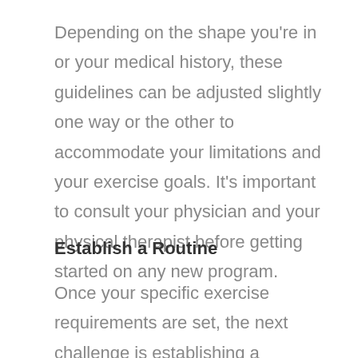Depending on the shape you're in or your medical history, these guidelines can be adjusted slightly one way or the other to accommodate your limitations and your exercise goals. It's important to consult your physician and your physical therapist before getting started on any new program.
Establish a Routine
Once your specific exercise requirements are set, the next challenge is establishing a consistent routine. For this, we offer the